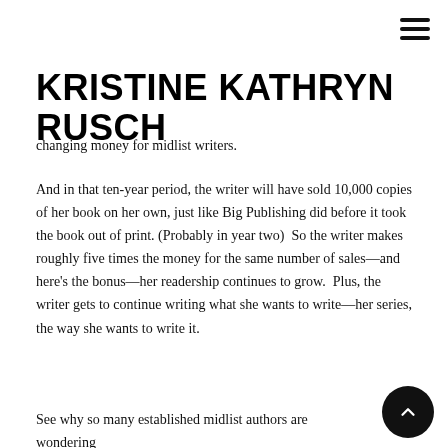KRISTINE KATHRYN RUSCH
changing money for midlist writers.
And in that ten-year period, the writer will have sold 10,000 copies of her book on her own, just like Big Publishing did before it took the book out of print. (Probably in year two)  So the writer makes roughly five times the money for the same number of sales—and here's the bonus—her readership continues to grow.  Plus, the writer gets to continue writing what she wants to write—her series, the way she wants to write it.
See why so many established midlist authors are wondering